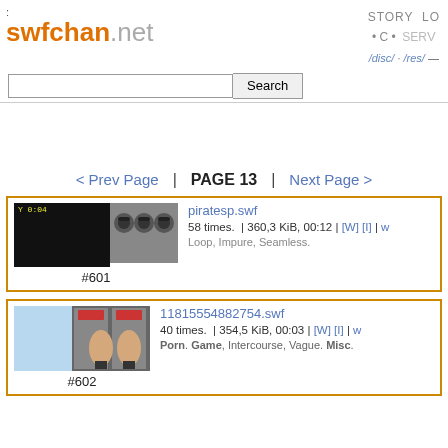swfchan.net | STORY LO • C • SERV
[Figure (screenshot): Search bar with text input and Search button]
< Prev Page | PAGE 13 | Next Page >
[Figure (screenshot): Thumbnail for piratesp.swf entry #601 showing dark image and pirate figures]
piratesp.swf
58 times. | 360,3 KiB, 00:12 | [W] [I] | w
Loop, Impure, Seamless.
[Figure (screenshot): Thumbnail for 11815554882754.swf entry #602 showing game with anime character]
11815554882754.swf
40 times. | 354,5 KiB, 00:03 | [W] [I] | w
Porn. Game, Intercourse, Vague. Misc.